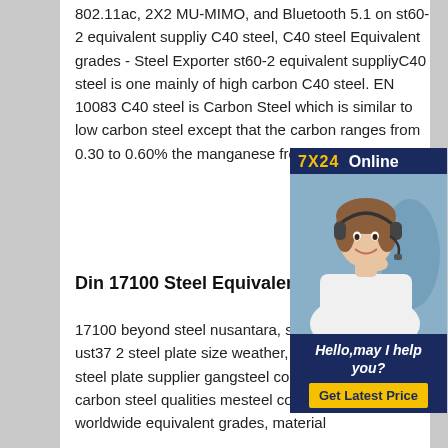802.11ac, 2X2 MU-MIMO, and Bluetooth 5.1 on st60-2 equivalent suppliy C40 steel, C40 steel Equivalent grades - Steel Exporter st60-2 equivalent suppliyC40 steel is one mainly of high carbon C40 steel. EN 10083 C40 steel is Carbon Steel which is similar to low carbon steel except that the carbon ranges from 0.30 to 0.60% the manganese from 0.50 to 1.65%.
[Figure (other): Chat support advertisement overlay with a woman wearing headset, dark navy background with '7X24 Online' header in gold and white, 'Hello, may I help you?' text in white italic, and a 'Get Latest Price' yellow button]
Din 17100 Steel Equivalent Is St...
17100 beyond steel nusantara, supply din 17100 ust37 2 steel plate size weather, din 17100 st52 3 steel plate supplier gangsteel com, equivalents of carbon steel qualities mesteel com, ust37 2 din wnr worldwide equivalent grades, material